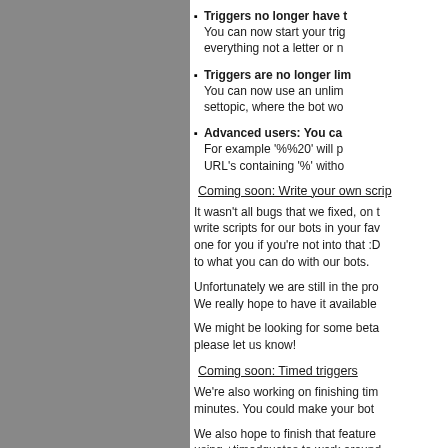Triggers no longer have t
You can now start your trig everything not a letter or n
Triggers are no longer lim
You can now use an unlim settopic, where the bot wo
Advanced users: You ca
For example '%%20' will p URL's containing '%' witho
Coming soon: Write your own scrip
It wasn't all bugs that we fixed, on t write scripts for our bots in your fav one for you if you're not into that :D to what you can do with our bots.
Unfortunately we are still in the pro We really hope to have it available
We might be looking for some beta please let us know!
Coming soon: Timed triggers
We're also working on finishing tim minutes. You could make your bot
We also hope to finish that feature using +timedquotes to work around soon as possible.